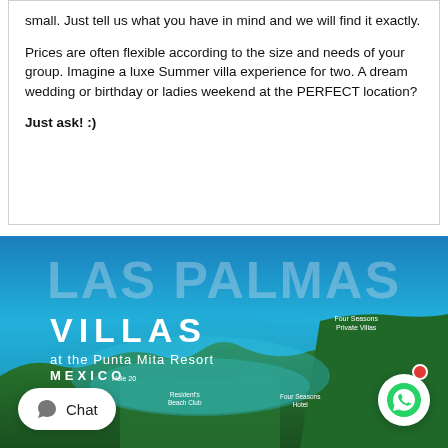small. Just tell us what you have in mind and we will find it exactly.

Prices are often flexible according to the size and needs of your group. Imagine a luxe Summer villa experience for two. A dream wedding or birthday or ladies weekend at the PERFECT location?

Just ask! :)
[Figure (photo): Aerial photo of Las Palmas Villas at the Punta Mita Resort, Mexico. Shows a coastal bay with turquoise water, lush green jungle, and resort buildings with labeled landmarks including Four Seasons Private Villas, Resident's Beach Club, Four Seasons Hotel, and Hole 20. A large semi-transparent 'LAS PALMAS' text overlays the top, with 'VILLAS at the Punta Mita Resort MEXICO' in white below.]